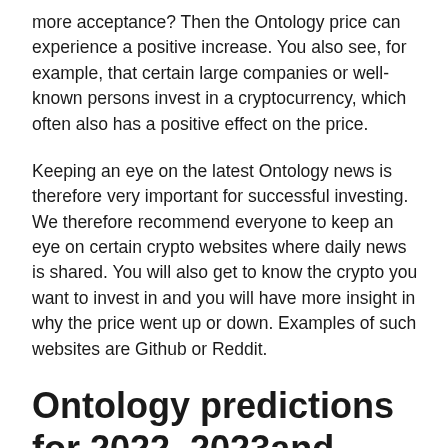more acceptance? Then the Ontology price can experience a positive increase. You also see, for example, that certain large companies or well-known persons invest in a cryptocurrency, which often also has a positive effect on the price.
Keeping an eye on the latest Ontology news is therefore very important for successful investing. We therefore recommend everyone to keep an eye on certain crypto websites where daily news is shared. You will also get to know the crypto you want to invest in and you will have more insight in why the price went up or down. Examples of such websites are Github or Reddit.
Ontology predictions for 2022, 2023and 2025
Our own Ontology predictions for the years 2022- 2025 are certainly positive. It is clear that Ontology is gaining social